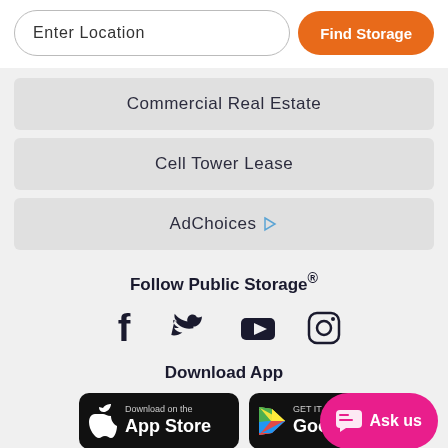Enter Location
Find Storage
Commercial Real Estate
Cell Tower Lease
AdChoices
Follow Public Storage®
[Figure (infographic): Social media icons: Facebook, Twitter, YouTube, Instagram]
Download App
[Figure (infographic): App store download buttons: App Store and Google Play, with Ask us chat button]